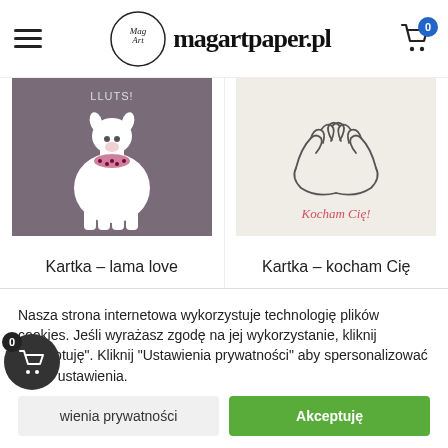magartpaper.pl
[Figure (photo): Product image: Kartka - lama love, grey background with white llama illustration]
Kartka – lama love
9,90 zł
[Figure (photo): Product image: Kartka - kocham Cię, beige background with hands and 'Kocham Cię!' text]
Kartka – kocham Cię
9,90 zł
Nasza strona internetowa wykorzystuje technologię plików cookies. Jeśli wyrażasz zgodę na jej wykorzystanie, kliknij "Akceptuję". Kliknij "Ustawienia prywatności" aby spersonalizować swoje ustawienia.